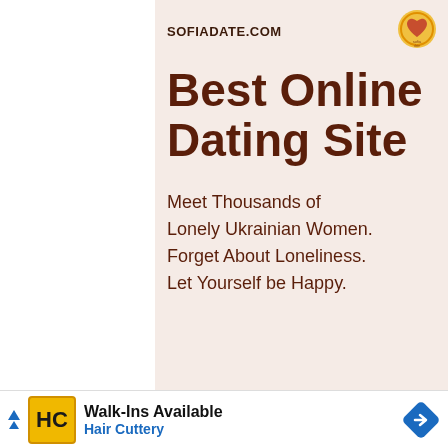SOFIADATE.COM
Best Online Dating Site
Meet Thousands of Lonely Ukrainian Women. Forget About Loneliness. Let Yourself be Happy.
×
[Figure (logo): Sofia Date circular logo badge in yellow/orange]
[Figure (logo): Hair Cuttery HC logo in yellow square]
Walk-Ins Available Hair Cuttery
[Figure (other): Blue navigation/directions diamond road sign icon]